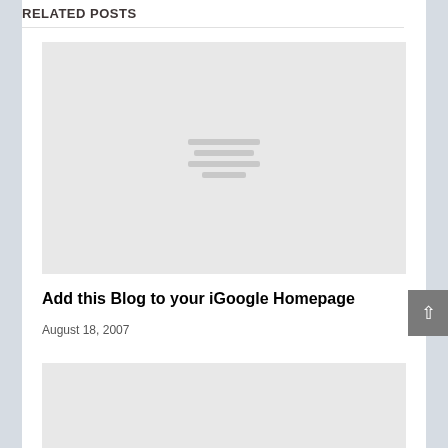RELATED POSTS
[Figure (photo): Placeholder image with lines indicating no image loaded, light gray background]
Add this Blog to your iGoogle Homepage
August 18, 2007
[Figure (photo): Second placeholder image, light gray background, partially visible]